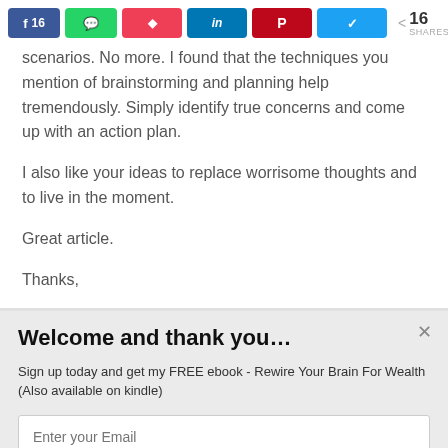[Figure (screenshot): Social sharing bar with Facebook (16 shares), WhatsApp, Pocket, LinkedIn, Pinterest, Twitter buttons, and total share count of 16]
scenarios. No more. I found that the techniques you mention of brainstorming and planning help tremendously. Simply identify true concerns and come up with an action plan.
I also like your ideas to replace worrisome thoughts and to live in the moment.
Great article.
Thanks,
Welcome and thank you…
Sign up today and get my FREE ebook - Rewire Your Brain For Wealth (Also available on kindle)